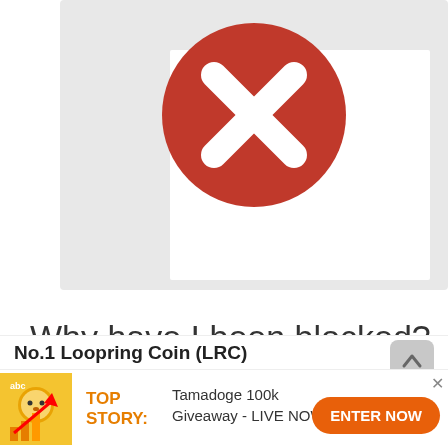[Figure (screenshot): A browser security block page screenshot showing a grey card with white inner panel and a large red circle with white X mark (blocked/error icon) in the center.]
Why have I been blocked?
This website is using a security service to protect itself from online attacks. The action you just performed triggered the security solution. There are several actions that could tr…
No.1 Loopring Coin (LRC)
[Figure (infographic): Advertisement banner: TOP STORY: Tamadoge 100k Giveaway - LIVE NOW with orange coin icon and ENTER NOW button.]